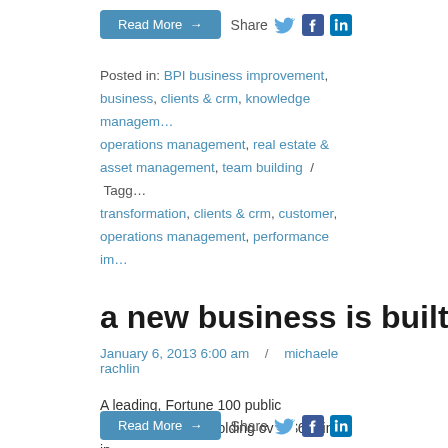Read More → Share
Posted in: BPI business improvement, business, clients & crm, knowledge management, operations management, real estate & asset management, team building / Tagged: transformation, clients & crm, customer, operations management, performance im…
a new business is built upon a data warehou…
January 6, 2013 6:00 am  /  michaele rachlin
A leading, Fortune 100 public homebuilder was holding over $6 B in in… & Other Assets as part of its real estate operations, with limited ability t… manage the performance of underlying assets and joint ventures. The… information was stored in scattered places across the enterprise.  The…
...
Read More → Share